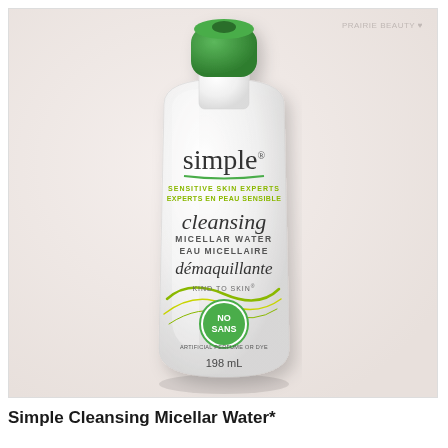[Figure (photo): A bottle of Simple Cleansing Micellar Water (198 mL) with a green cap, white translucent bottle body. Label shows 'simple', 'SENSITIVE SKIN EXPERTS / EXPERTS EN PEAU SENSIBLE', 'cleansing MICELLAR WATER EAU MICELLAIRE démaquillante', 'KIND TO SKIN', 'NO SANS' badge, and '198 mL'. A watermark reading 'PRAIRIE BEAUTY' with a heart appears in the top right corner of the image.]
Simple Cleansing Micellar Water*